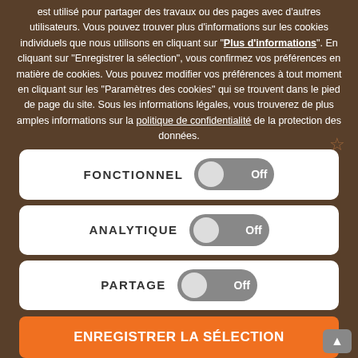est utilisé pour partager des travaux ou des pages avec d'autres utilisateurs. Vous pouvez trouver plus d'informations sur les cookies individuels que nous utilisons en cliquant sur "Plus d'informations". En cliquant sur "Enregistrer la sélection", vous confirmez vos préférences en matière de cookies. Vous pouvez modifier vos préférences à tout moment en cliquant sur les "Paramètres des cookies" qui se trouvent dans le pied de page du site. Sous les informations légales, vous trouverez de plus amples informations sur la politique de confidentialité de la protection des données.
[Figure (screenshot): Cookie consent modal overlay with three toggle switches (FONCTIONNEL Off, ANALYTIQUE Off, PARTAGE Off) and a button ENREGISTRER LA SÉLECTION]